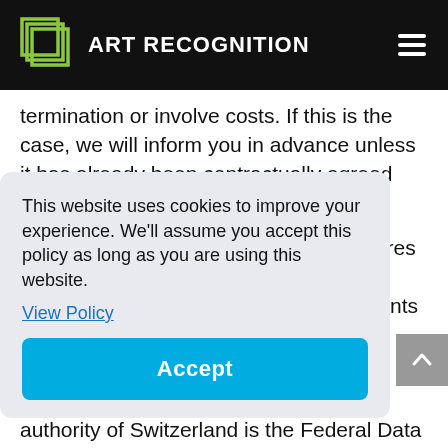ART RECOGNITION
termination or involve costs. If this is the case, we will inform you in advance unless it has already been contractually agreed upon.
In general, exercising these rights requires that you are able to prove your identity (e.g., by a copy of identification documents where your identity is
This website uses cookies to improve your experience. We'll assume you accept this policy as long as you are using this website.
View Policy
Accept
authority of Switzerland is the Federal Data